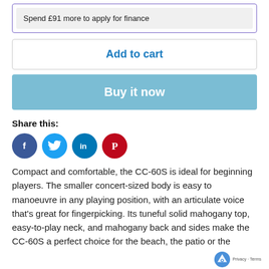Spend £91 more to apply for finance
Add to cart
Buy it now
Share this:
[Figure (infographic): Social media share icons: Facebook (dark blue circle with f), Twitter (light blue circle with bird), LinkedIn (teal circle with in), Pinterest (red circle with P)]
Compact and comfortable, the CC-60S is ideal for beginning players. The smaller concert-sized body is easy to manoeuvre in any playing position, with an articulate voice that's great for fingerpicking. Its tuneful solid mahogany top, easy-to-play neck, and mahogany back and sides make the CC-60S a perfect choice for the beach, the patio or the